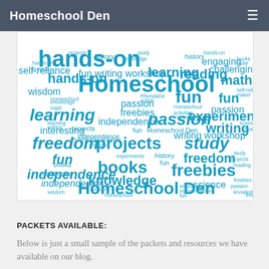Homeschool Den
[Figure (infographic): Word cloud featuring homeschool-related terms such as hands-on, Homeschool, learning, fun, books, projects, freedom, passion, freebies, independence, knowledge, study, experiments, writing, history, math, science, wisdom, engaging, challenging, reading, writing workshop, Homeschool Den, and many more, all in shades of blue on a white background.]
PACKETS AVAILABLE:
Below is just a small sample of the packets and resources we have available on our blog.